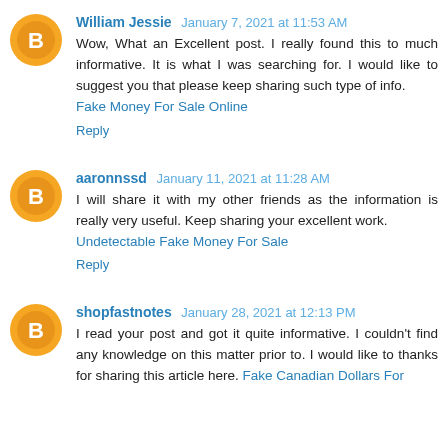William Jessie  January 7, 2021 at 11:53 AM
Wow, What an Excellent post. I really found this to much informative. It is what I was searching for. I would like to suggest you that please keep sharing such type of info. Fake Money For Sale Online
Reply
aaronnssd  January 11, 2021 at 11:28 AM
I will share it with my other friends as the information is really very useful. Keep sharing your excellent work. Undetectable Fake Money For Sale
Reply
shopfastnotes  January 28, 2021 at 12:13 PM
I read your post and got it quite informative. I couldn't find any knowledge on this matter prior to. I would like to thanks for sharing this article here. Fake Canadian Dollars For...